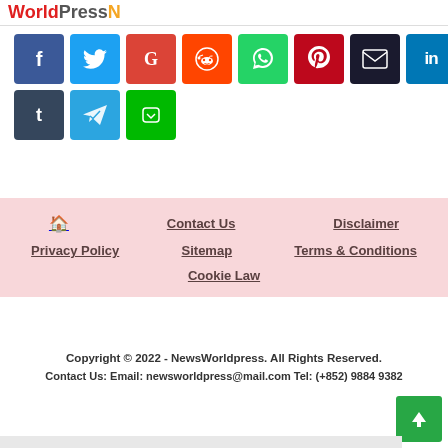WorldPressN
[Figure (other): Social media share buttons: Facebook, Twitter, Google, Reddit, WhatsApp, Pinterest, Email, LinkedIn, Messenger, Tumblr, Telegram, Line]
Home | Contact Us | Disclaimer | Privacy Policy | Sitemap | Terms & Conditions | Cookie Law
Copyright © 2022 - NewsWorldpress. All Rights Reserved. Contact Us: Email: newsworldpress@mail.com Tel: (+852) 9884 9382